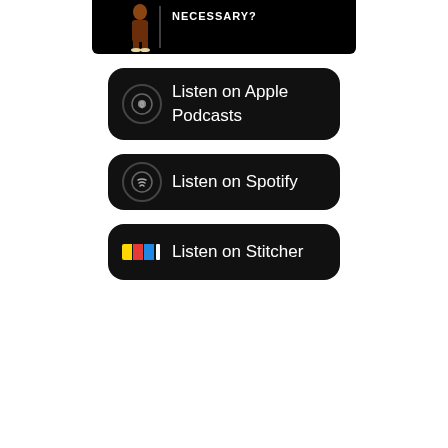[Figure (illustration): Partial black banner at top showing a cartoon figure and text 'NECESSARY?' in white bold uppercase letters]
[Figure (infographic): Listen on Apple Podcasts button - black rounded rectangle with Apple Podcasts icon and text]
[Figure (infographic): Listen on Spotify button - black rounded rectangle with Spotify icon and text]
[Figure (infographic): Listen on Stitcher button - black rounded rectangle with Stitcher colorful icon and text]